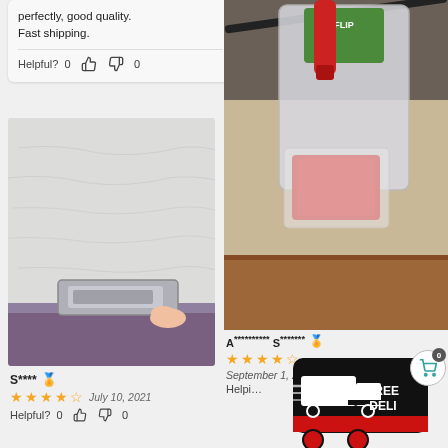perfectly, good quality. Fast shipping.
Helpful? 0 👍 0 👎
[Figure (photo): Close-up photo of a metal bracket or furniture fitting against a white textured wall, with a purple/grey surface at the bottom]
S**** ✅ ⭐⭐⭐⭐½ July 10, 2021
Helpful? 0 👍 0 👎
[Figure (photo): Photo of a red spatula/cleaning tool in plastic packaging on a table, with product label visible]
A********** S******* ✅ ⭐⭐⭐⭐½ September 1, 202...
Helpful? ...
[Figure (infographic): FREE DELIVERY badge with truck icon and shopping cart with 0 count]